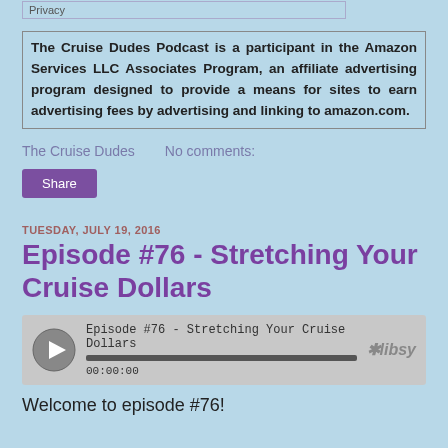Privacy
The Cruise Dudes Podcast is a participant in the Amazon Services LLC Associates Program, an affiliate advertising program designed to provide a means for sites to earn advertising fees by advertising and linking to amazon.com.
The Cruise Dudes    No comments:
Share
TUESDAY, JULY 19, 2016
Episode #76 - Stretching Your Cruise Dollars
[Figure (other): Audio player widget showing Episode #76 - Stretching Your Cruise Dollars with play button, progress bar at 00:00:00, and libsyn logo]
Welcome to episode #76!